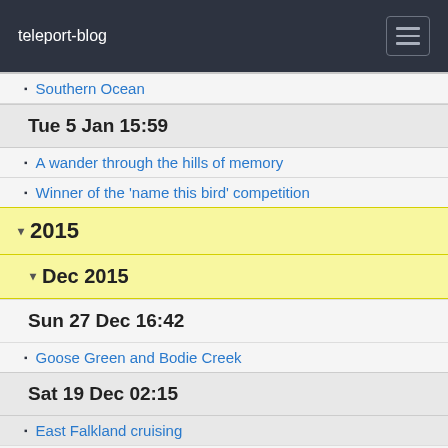teleport-blog
Southern Ocean
Tue 5 Jan 15:59
A wander through the hills of memory
Winner of the 'name this bird' competition
2015
Dec 2015
Sun 27 Dec 16:42
Goose Green and Bodie Creek
Sat 19 Dec 02:15
East Falkland cruising
Fri 18 Dec 01:59
Trendy Stanley in the Falkland Islands
Thu 10 Dec 02:22
Passage to the Falklands
Sun 6 Dec 14:26